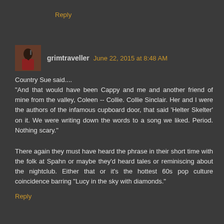Reply
[Figure (photo): Avatar photo of grimtraveller, a person in red jacket holding an object, small square thumbnail]
grimtraveller  June 22, 2015 at 8:48 AM
Country Sue said....
"And that would have been Cappy and me and another friend of mine from the valley, Coleen -- Collie. Collie Sinclair. Her and I were the authors of the infamous cupboard door, that said 'Helter Skelter' on it. We were writing down the words to a song we liked. Period. Nothing scary."
There again they must have heard the phrase in their short time with the folk at Spahn or maybe they'd heard tales or reminiscing about the nightclub. Either that or it's the hottest 60s pop culture coincidence barring "Lucy in the sky with diamonds."
Reply